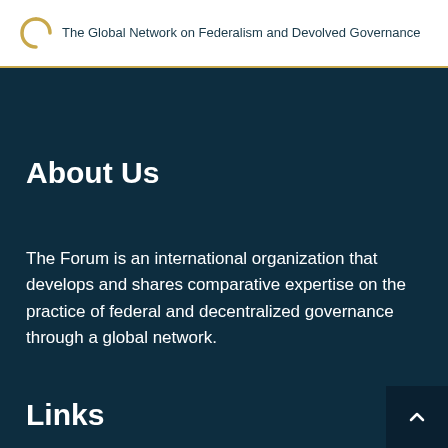The Global Network on Federalism and Devolved Governance
About Us
The Forum is an international organization that develops and shares comparative expertise on the practice of federal and decentralized governance through a global network.
Links